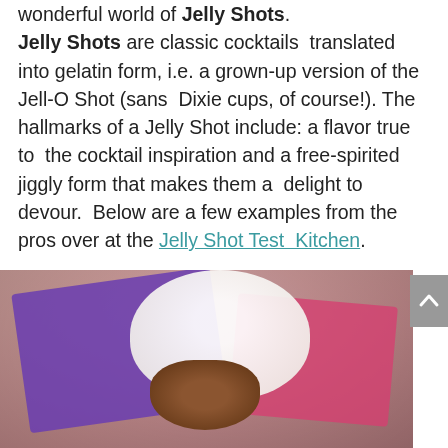wonderful world of Jelly Shots. Jelly Shots are classic cocktails translated into gelatin form, i.e. a grown-up version of the Jell-O Shot (sans Dixie cups, of course!). The hallmarks of a Jelly Shot include: a flavor true to the cocktail inspiration and a free-spirited jiggly form that makes them a delight to devour. Below are a few examples from the pros over at the Jelly Shot Test Kitchen.
[Figure (photo): A photograph showing colorful jelly shots displayed on purple and pink cards/boxes, with what appears to be a cupcake or whipped cream in the center, on a soft blurred background.]